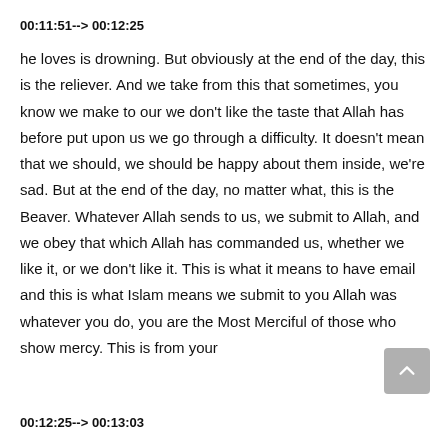00:11:51--> 00:12:25
he loves is drowning. But obviously at the end of the day, this is the reliever. And we take from this that sometimes, you know we make to our we don't like the taste that Allah has before put upon us we go through a difficulty. It doesn't mean that we should, we should be happy about them inside, we're sad. But at the end of the day, no matter what, this is the Beaver. Whatever Allah sends to us, we submit to Allah, and we obey that which Allah has commanded us, whether we like it, or we don't like it. This is what it means to have email and this is what Islam means we submit to you Allah was whatever you do, you are the Most Merciful of those who show mercy. This is from your
00:12:25--> 00:13:03